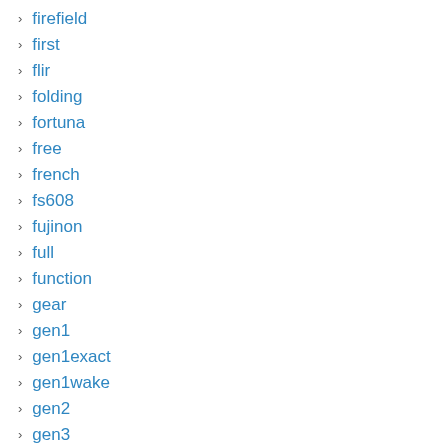firefield
first
flir
folding
fortuna
free
french
fs608
fujinon
full
function
gear
gen1
gen1exact
gen1wake
gen2
gen3
general